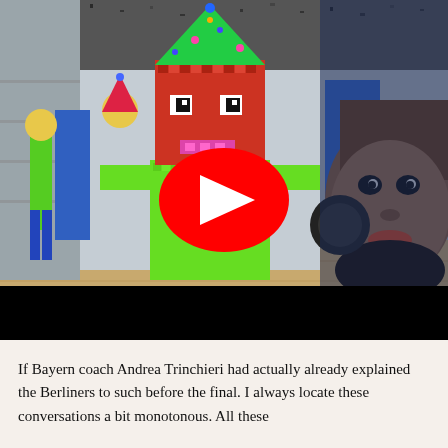[Figure (screenshot): YouTube video thumbnail showing a 3D pixel-art game character (green body, red blocky head with party hat) from Baldi's Basics alongside a man's face on the right side, with a red YouTube play button overlay in the center. Below the thumbnail is a black bar.]
If Bayern coach Andrea Trinchieri had actually already explained the Berliners to such before the final. I always locate these conversations a bit monotonous. All these...